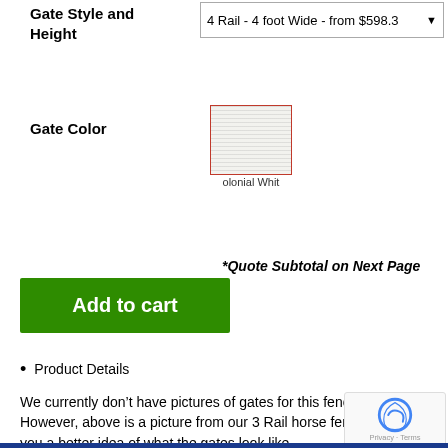Gate Style and Height
4 Rail - 4 foot Wide - from $598.3
Gate Color
[Figure (other): Color swatch showing Colonial White color option with a red border outline]
*Quote Subtotal on Next Page
Add to cart
Product Details
We currently don’t have pictures of gates for this fence style. However, above is a picture from our 3 Rail horse fence give you a better idea of what the gates look like.